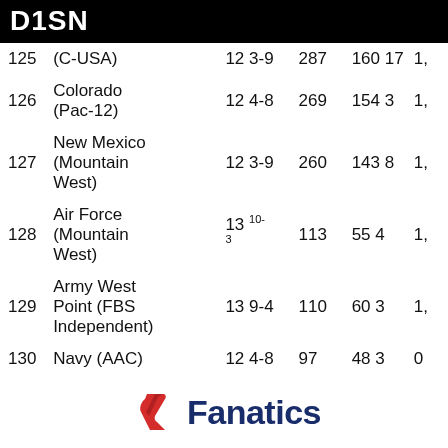D1SN
| # | Team | G | Record | Pts | Other | Last |
| --- | --- | --- | --- | --- | --- | --- |
| 125 | (C-USA) | 12 | 3-9 | 287 | 160 17 | 1, |
| 126 | Colorado (Pac-12) | 12 | 4-8 | 269 | 154 3 | 1, |
| 127 | New Mexico (Mountain West) | 12 | 3-9 | 260 | 143 8 | 1, |
| 128 | Air Force (Mountain West) | 13 | 10-3 | 113 | 55 4 | 1, |
| 129 | Army West Point (FBS Independent) | 13 | 9-4 | 110 | 60 3 | 1, |
| 130 | Navy (AAC) | 12 | 4-8 | 97 | 48 3 | 0 |
[Figure (logo): Fanatics logo with red swoosh icon and dark blue Fanatics text]